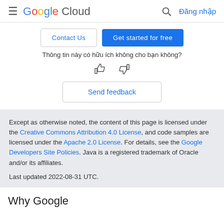Google Cloud — Đăng nhập
Contact Us | Get started for free
Thông tin này có hữu ích không cho bạn không?
Send feedback
Except as otherwise noted, the content of this page is licensed under the Creative Commons Attribution 4.0 License, and code samples are licensed under the Apache 2.0 License. For details, see the Google Developers Site Policies. Java is a registered trademark of Oracle and/or its affiliates.

Last updated 2022-08-31 UTC.
Why Google